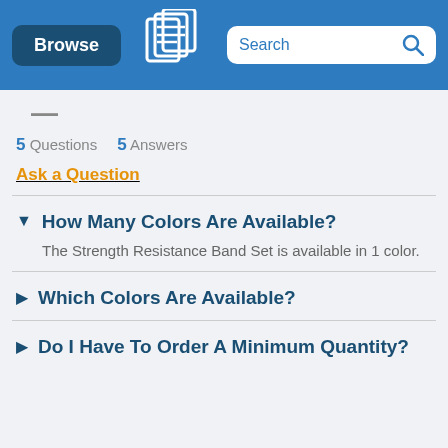Browse | [logo] | Search
5 Questions   5 Answers
Ask a Question
How Many Colors Are Available?
The Strength Resistance Band Set is available in 1 color.
Which Colors Are Available?
Do I Have To Order A Minimum Quantity?